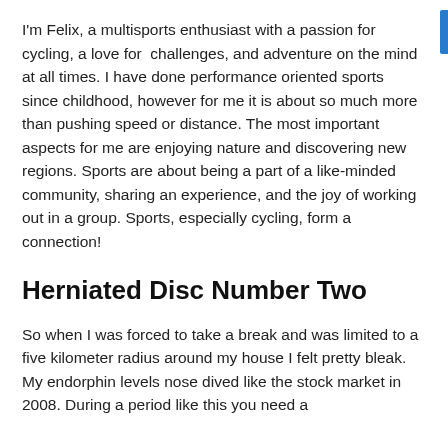I'm Felix, a multisports enthusiast with a passion for cycling, a love for challenges, and adventure on the mind at all times. I have done performance oriented sports since childhood, however for me it is about so much more than pushing speed or distance. The most important aspects for me are enjoying nature and discovering new regions. Sports are about being a part of a like-minded community, sharing an experience, and the joy of working out in a group. Sports, especially cycling, form a connection!
Herniated Disc Number Two
So when I was forced to take a break and was limited to a five kilometer radius around my house I felt pretty bleak. My endorphin levels nose dived like the stock market in 2008. During a period like this you need a